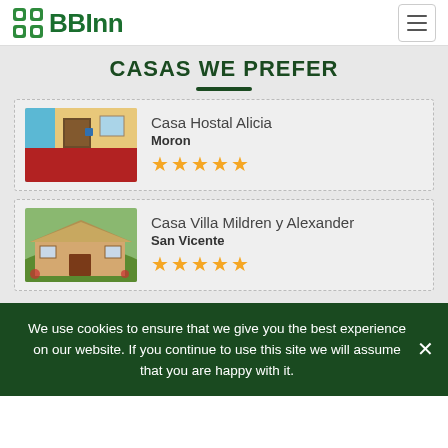BBInn
CASAS WE PREFER
Casa Hostal Alicia
Moron
★★★★★
Casa Villa Mildren y Alexander
San Vicente
★★★★★
We use cookies to ensure that we give you the best experience on our website. If you continue to use this site we will assume that you are happy with it.